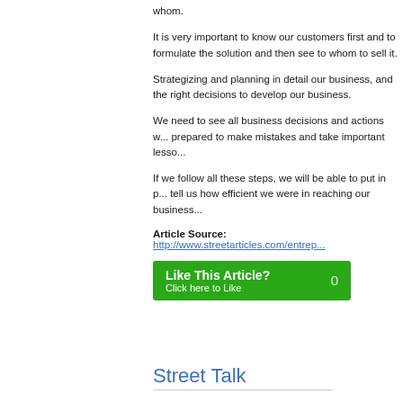whom.
It is very important to know our customers first and to formulate the solution and then see to whom to sell it.
Strategizing and planning in detail our business, and the right decisions to develop our business.
We need to see all business decisions and actions w... prepared to make mistakes and take important lesso...
If we follow all these steps, we will be able to put in p... tell us how efficient we were in reaching our business...
Article Source: http://www.streetarticles.com/entrep...
[Figure (other): Green 'Like This Article?' button with count 0 and 'Click here to Like' text]
Street Talk